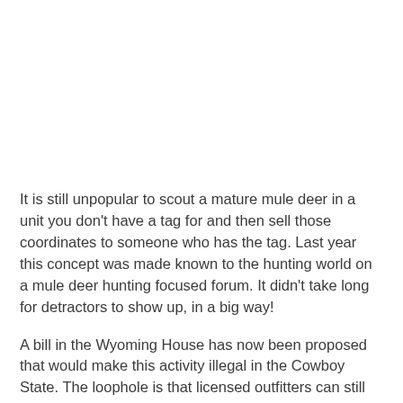It is still unpopular to scout a mature mule deer in a unit you don't have a tag for and then sell those coordinates to someone who has the tag. Last year this concept was made known to the hunting world on a mule deer hunting focused forum. It didn't take long for detractors to show up, in a big way!
A bill in the Wyoming House has now been proposed that would make this activity illegal in the Cowboy State. The loophole is that licensed outfitters can still send coordinates to their guides and essentially, their clients.
This bill has also made it illegal to send pictures that